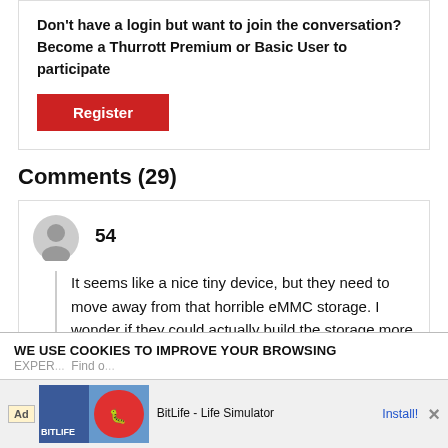Don't have a login but want to join the conversation? Become a Thurrott Premium or Basic User to participate
Register
Comments (29)
54
It seems like a nice tiny device, but they need to move away from that horrible eMMC storage. I wonder if they could actually build the storage more like an onboard SSD? That would be a better option.
WE USE COOKIES TO IMPROVE YOUR BROWSING EXPER...
[Figure (infographic): BitLife - Life Simulator advertisement banner with logo and Install! button]